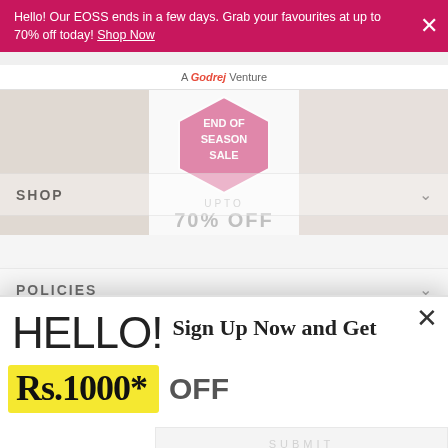Hello! Our EOSS ends in a few days. Grab your favourites at up to 70% off today! Shop Now
[Figure (screenshot): E-commerce website background showing 'A Godrej Venture' logo, End of Season Sale banner with 'UPTO 70% OFF', SHOP and POLICIES navigation items, and a newsletter signup prompt]
HELLO!
Sign Up Now and Get
Rs.1000* OFF
Sign Up Now